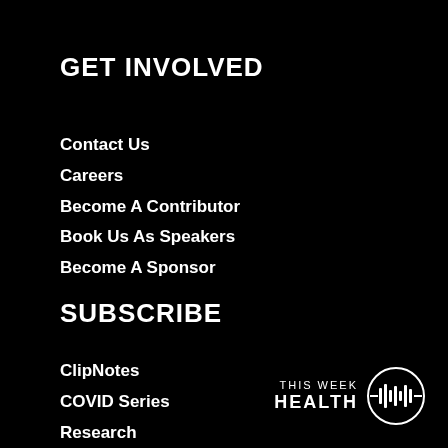GET INVOLVED
Contact Us
Careers
Become A Contributor
Book Us As Speakers
Become A Sponsor
SUBSCRIBE
ClipNotes
COVID Series
Research
[Figure (logo): This Week Health logo with circular audio waveform icon]